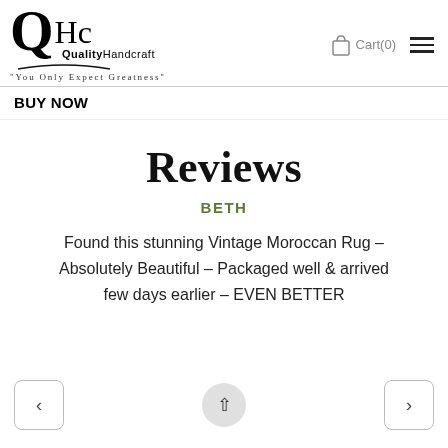QHc Quality Handcraft — "You Only Expect Greatness" — Cart(0)
BUY NOW
Reviews
BETH
Found this stunning Vintage Moroccan Rug – Absolutely Beautiful – Packaged well & arrived few days earlier – EVEN BETTER